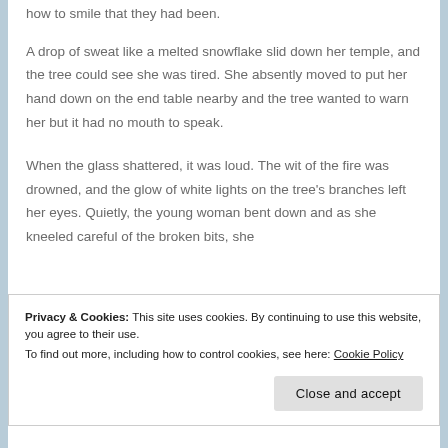how to smile that they had been.
A drop of sweat like a melted snowflake slid down her temple, and the tree could see she was tired. She absently moved to put her hand down on the end table nearby and the tree wanted to warn her but it had no mouth to speak.
When the glass shattered, it was loud. The wit of the fire was drowned, and the glow of white lights on the tree's branches left her eyes. Quietly, the young woman bent down and as she kneeled careful of the broken bits, she
Privacy & Cookies: This site uses cookies. By continuing to use this website, you agree to their use.
To find out more, including how to control cookies, see here: Cookie Policy
Close and accept